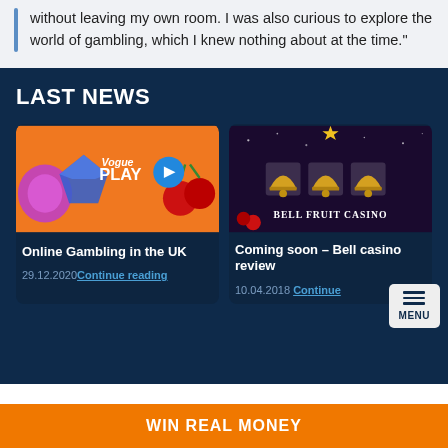without leaving my own room. I was also curious to explore the world of gambling, which I knew nothing about at the time."
LAST NEWS
[Figure (screenshot): Vogue Play casino promotional image with colorful gems and cherries on orange background]
Online Gambling in the UK
29.12.2020 Continue reading
[Figure (screenshot): Bell Fruit Casino image with golden bells on dark background]
Coming soon – Bell casino review
10.04.2018 Continue
WIN REAL MONEY